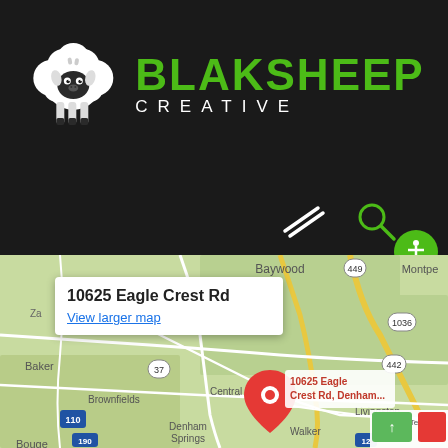[Figure (logo): BlakSheep Creative logo — white cartoon sheep on left, green bold BLAKSHEEP text with white CREATIVE below on dark background]
[Figure (screenshot): Navigation bar icons — diagonal lines (hamburger/menu) and magnifying glass search icon on dark background, with green accessibility circle button]
[Figure (map): Google Maps embed showing 10625 Eagle Crest Rd location near Denham Springs, Louisiana, with red pin marker and popup showing address and View larger map link. Surrounding labels: Baywood, Montpe(gomery), 449, 1036, 442, 37, 16, Baker, Brownfields, Central, Denham Springs, Walker, Livingston, 110, 190, 12, Baton Rouge (partial).]